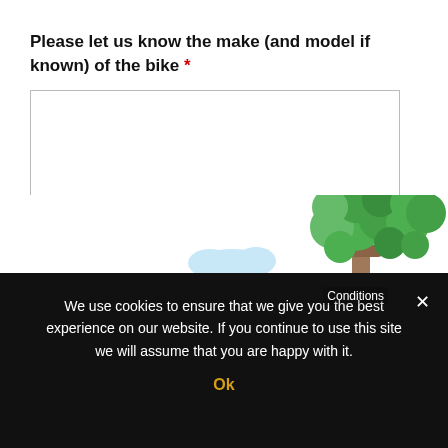Please let us know the make (and model if known) of the bike *
[Figure (illustration): Decorative illustration showing a person sitting under a green tree with a cloud in the background, with 'Conditions' text overlay]
We use cookies to ensure that we give you the best experience on our website. If you continue to use this site we will assume that you are happy with it.
Ok